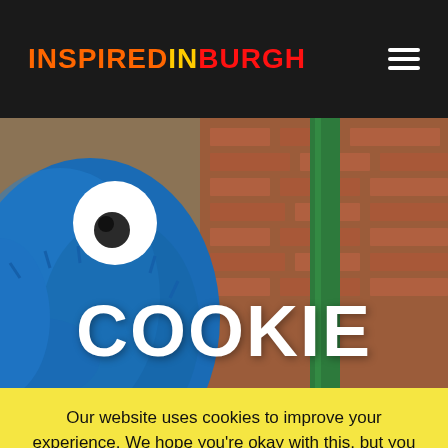INSPIREDINBURGH
[Figure (photo): Cookie Monster character in blue fur standing against a brick wall with a green pole, with large white text 'COOKIE' overlaid at the bottom of the image]
Our website uses cookies to improve your experience. We hope you're okay with this, but you can opt-out should you wish.
ACCEPT   REJECT   Read More